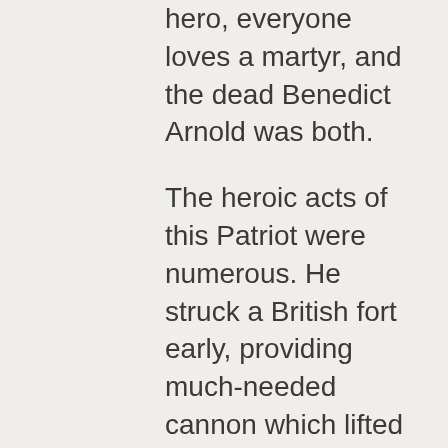hero, everyone loves a martyr, and the dead Benedict Arnold was both.
The heroic acts of this Patriot were numerous. He struck a British fort early, providing much-needed cannon which lifted the siege of Boston. He travelled through wilderness in the dead of winter to prove the British were not invincible even in as remote an area as Quebec. He built, captured, and deployed the first U.S. Naval fleet and successfully kept the British Navy at bay single-handedly on Lake Champlain, which stalled the British invasion from the North. And finally, his rally of the soldiers at Saratoga led to the surrender of General